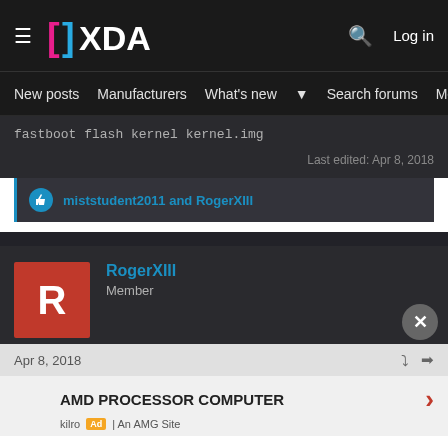XDA Developers — New posts  Manufacturers  What's new  Search forums  Members
fastboot flash kernel kernel.img
Last edited: Apr 8, 2018
miststudent2011 and RogerXIII
RogerXIII
Member
Apr 8, 2018
AMD PROCESSOR COMPUTER
Ad | An AMG Site